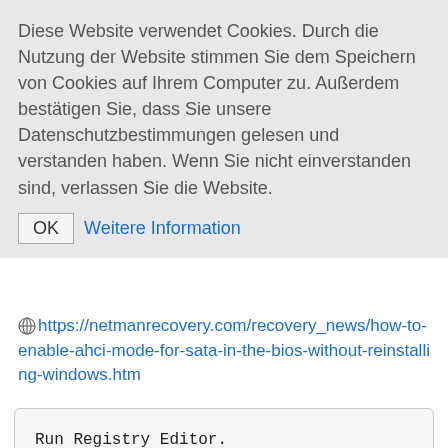Diese Website verwendet Cookies. Durch die Nutzung der Website stimmen Sie dem Speichern von Cookies auf Ihrem Computer zu. Außerdem bestätigen Sie, dass Sie unsere Datenschutzbestimmungen gelesen und verstanden haben. Wenn Sie nicht einverstanden sind, verlassen Sie die Website.
OK  Weitere Information
https://netmanrecovery.com/recovery_news/how-to-enable-ahci-mode-for-sata-in-the-bios-without-reinstalling-windows.htm
Run Registry Editor.

To do it, press Win + R and type in th

Go to the section HKEY_LOCAL_MACHINE\
Regedit. Go to the section HKEY_LOCAL_

Double-click on Start element and set
Regedit. Double-click on Start elemen